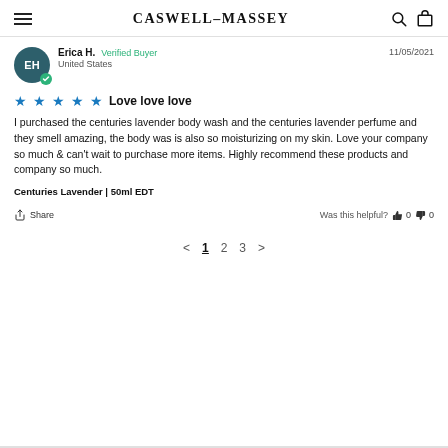CASWELL-MASSEY
Erica H.   Verified Buyer   11/05/2021   United States
★★★★★  Love love love
I purchased the centuries lavender body wash and the centuries lavender perfume and they smell amazing, the body was is also so moisturizing on my skin. Love your company so much & can't wait to purchase more items. Highly recommend these products and company so much.
Centuries Lavender | 50ml EDT
Share   Was this helpful?  👍 0  👎 0
< 1 2 3 >